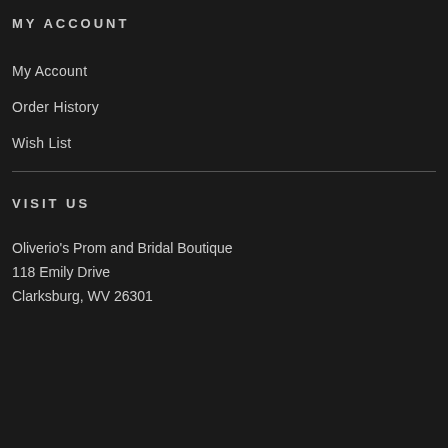MY ACCOUNT
My Account
Order History
Wish List
VISIT US
Oliverio's Prom and Bridal Boutique
118 Emily Drive
Clarksburg, WV 26301